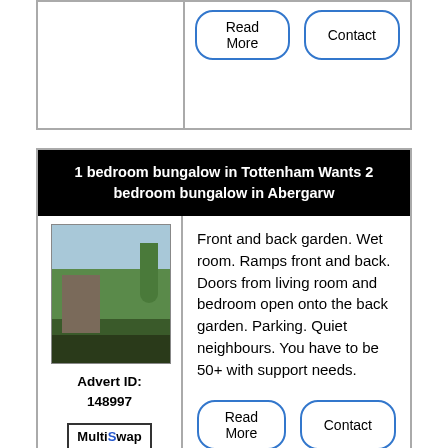[Figure (other): Partial top card with Read More and Contact buttons visible]
1 bedroom bungalow in Tottenham Wants 2 bedroom bungalow in Abergarw
[Figure (photo): Photo of a bungalow with front garden]
Advert ID: 148997
[Figure (logo): MultiSwap logo]
Front and back garden. Wet room. Ramps front and back. Doors from living room and bedroom open onto the back garden. Parking. Quiet neighbours. You have to be 50+ with support needs.
Read More  Contact
3 bedroom house in Tower Gardens Wants 3 bedroom house in Weybridge